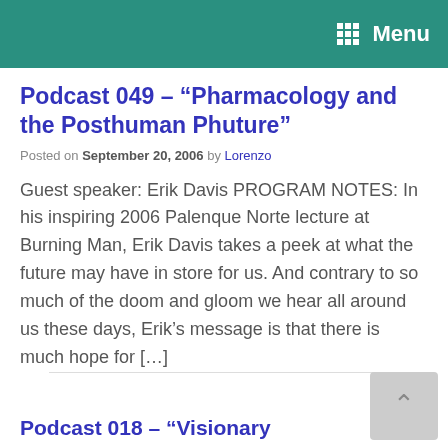Menu
Podcast 049 – “Pharmacology and the Posthuman Phuture”
Posted on September 20, 2006 by Lorenzo
Guest speaker: Erik Davis PROGRAM NOTES: In his inspiring 2006 Palenque Norte lecture at Burning Man, Erik Davis takes a peek at what the future may have in store for us. And contrary to so much of the doom and gloom we hear all around us these days, Erik’s message is that there is much hope for […]
Podcast 018 – “Visionary